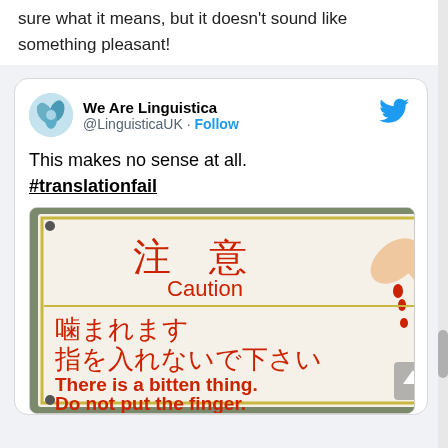sure what it means, but it doesn't sound like something pleasant!
[Figure (screenshot): A tweet by @LinguisticaUK (We Are Linguistica) showing a photo of a Japanese warning sign. The sign reads: 注意 / Caution (top section), 噛まれます / 指を入れないで下さい (middle section in red Japanese text), and 'There is a bitten thing. / Do not put the finger.' (bottom in red English text). The tweet text says: 'This makes no sense at all. #translationfail']